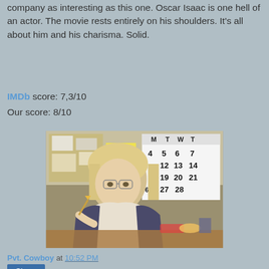company as interesting as this one. Oscar Isaac is one hell of an actor. The movie rests entirely on his shoulders. It's all about him and his charisma. Solid.
IMDb score: 7,3/10
Our score: 8/10
[Figure (photo): A blonde woman wearing glasses sits at a desk, holding a pencil, with a large calendar on the wall behind her showing dates 4-28.]
Pvt. Cowboy at 10:52 PM
Share
THURSDAY, DECEMBER 25, 2014